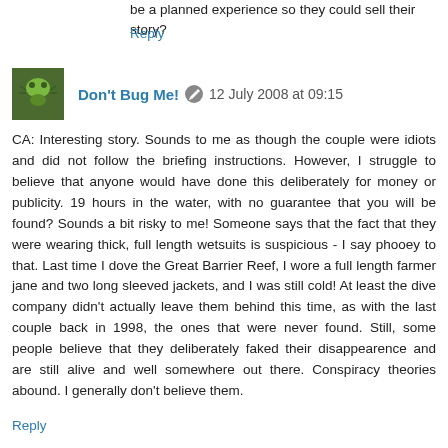be a planned experience so they could sell their story?
Reply
Don't Bug Me! 12 July 2008 at 09:15
CA: Interesting story. Sounds to me as though the couple were idiots and did not follow the briefing instructions. However, I struggle to believe that anyone would have done this deliberately for money or publicity. 19 hours in the water, with no guarantee that you will be found? Sounds a bit risky to me! Someone says that the fact that they were wearing thick, full length wetsuits is suspicious - I say phooey to that. Last time I dove the Great Barrier Reef, I wore a full length farmer jane and two long sleeved jackets, and I was still cold! At least the dive company didn't actually leave them behind this time, as with the last couple back in 1998, the ones that were never found. Still, some people believe that they deliberately faked their disappearence and are still alive and well somewhere out there. Conspiracy theories abound. I generally don't believe them.
Reply